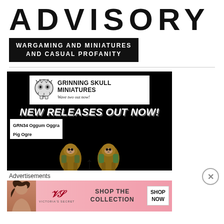ADVISORY
WARGAMING AND MINIATURES AND CASUAL PROFANITY
[Figure (illustration): Grinning Skull Miniatures advertisement on black background. Shows brand logo with skull illustration, text 'GRINNING SKULL MINIATURES Wave two out now!', 'NEW RELEASES OUT NOW!' in large italic white text, product label 'GRN34 Oggum Oggra Pig Ogre', and two painted pig ogre miniature figures with an upward arrow between them.]
Advertisements
[Figure (illustration): Victoria's Secret advertisement with pink gradient background. Shows a model on the left, Victoria's Secret logo and name, text 'SHOP THE COLLECTION', and a white 'SHOP NOW' button on the right.]